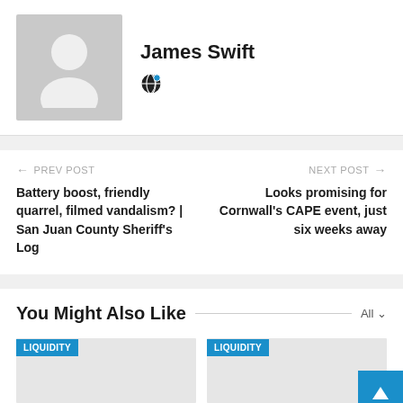James Swift
PREV POST — Battery boost, friendly quarrel, filmed vandalism? | San Juan County Sheriff's Log
NEXT POST — Looks promising for Cornwall's CAPE event, just six weeks away
You Might Also Like
LIQUIDITY
LIQUIDITY